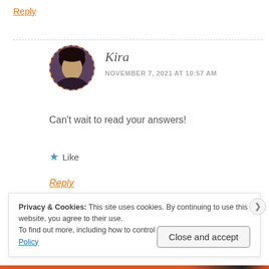Reply
[Figure (photo): Circular avatar photo of Kira, a person with dark hair, bordered with an orange dashed circle]
Kira
NOVEMBER 7, 2021 AT 10:57 AM
Can't wait to read your answers!
★ Like
Reply
Privacy & Cookies: This site uses cookies. By continuing to use this website, you agree to their use.
To find out more, including how to control cookies, see here: Cookie Policy
Close and accept